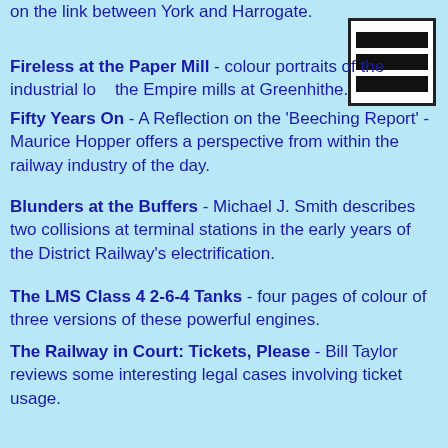on the link between York and Harrogate.
Fireless at the Paper Mill - colour portraits of the industrial lo... the Empire mills at Greenhithe.
Fifty Years On - A Reflection on the 'Beeching Report' - Maurice Hopper offers a perspective from within the railway industry of the day.
Blunders at the Buffers - Michael J. Smith describes two collisions at terminal stations in the early years of the District Railway's electrification.
The LMS Class 4 2-6-4 Tanks - four pages of colour of three versions of these powerful engines.
The Railway in Court: Tickets, Please - Bill Taylor reviews some interesting legal cases involving ticket usage.
The Last of the Hastings Units - Keith Dungate's colour shots during the final weeks in 1986.
Take the 'Port Road' - four colour pages of steam on the Dumfries Stranraer route closed in 1965.
The Changing Craft of the Permanent Way Man - Part One - Michael B. Binks reviews early developments in practices and procedures.
The Southport Extension of the Cheshire Lines Committee 1884-
[Figure (logo): A logo/icon showing three horizontal black bars on white background within a black border, resembling a menu/list icon.]